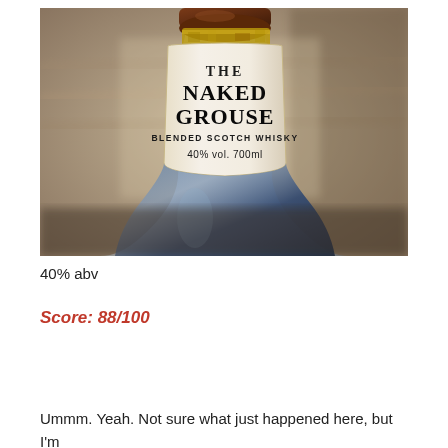[Figure (photo): Close-up photograph of The Naked Grouse Blended Scotch Whisky bottle neck and label. The label reads: THE NAKED GROUSE, BLENDED SCOTCH WHISKY, 40% vol. 700ml. The bottle has a brown cork stopper and the body is blue/clear glass.]
40% abv
Score:  88/100
Ummm.  Yeah.  Not sure what just happened here, but I'm